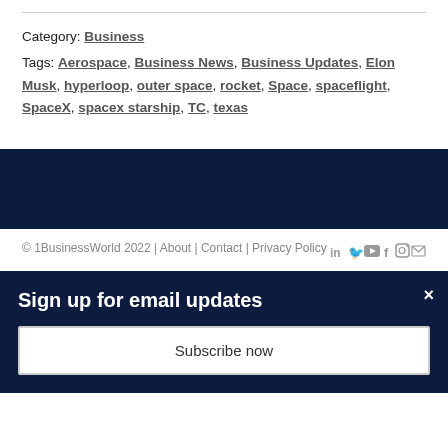Category: Business
Tags: Aerospace, Business News, Business Updates, Elon Musk, hyperloop, outer space, rocket, Space, spaceflight, SpaceX, spacex starship, TC, texas
© 1BusinessWorld 2022 | About | Contact | Privacy Policy
Sign up for email updates
Subscribe now